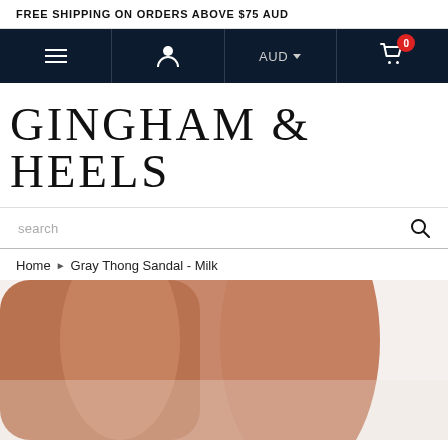FREE SHIPPING ON ORDERS ABOVE $75 AUD
[Figure (screenshot): Navigation bar with hamburger menu, user icon, AUD currency selector, and cart with 0 items on dark navy background]
GINGHAM & HEELS
search
Home › Gray Thong Sandal - Milk
[Figure (photo): Close-up product photo showing a person's foot/ankle wearing a sandal against a light background]